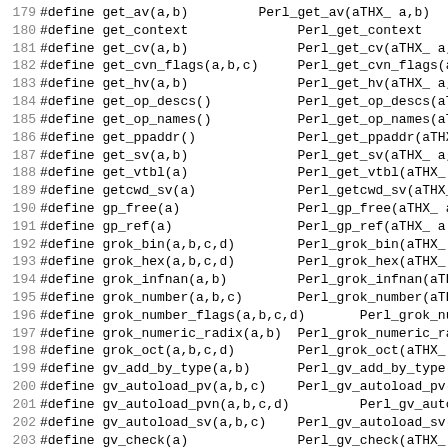179 #define get_av(a,b)         Perl_get_av(aTHX_ a,b)
180 #define get_context              Perl_get_context
181 #define get_cv(a,b)              Perl_get_cv(aTHX_ a,b)
182 #define get_cvn_flags(a,b,c)     Perl_get_cvn_flags(aTHX_
183 #define get_hv(a,b)              Perl_get_hv(aTHX_ a,b)
184 #define get_op_descs()           Perl_get_op_descs(aTHX_)
185 #define get_op_names()           Perl_get_op_names(aTHX_)
186 #define get_ppaddr()             Perl_get_ppaddr(aTHX_)
187 #define get_sv(a,b)              Perl_get_sv(aTHX_ a,b)
188 #define get_vtbl(a)              Perl_get_vtbl(aTHX_ a)
189 #define getcwd_sv(a)             Perl_getcwd_sv(aTHX_ a)
190 #define gp_free(a)               Perl_gp_free(aTHX_ a)
191 #define gp_ref(a)                Perl_gp_ref(aTHX_ a)
192 #define grok_bin(a,b,c,d)        Perl_grok_bin(aTHX_ a,b
193 #define grok_hex(a,b,c,d)        Perl_grok_hex(aTHX_ a,b
194 #define grok_infnan(a,b)         Perl_grok_infnan(aTHX_
195 #define grok_number(a,b,c)       Perl_grok_number(aTHX_
196 #define grok_number_flags(a,b,c,d)       Perl_grok_numbe
197 #define grok_numeric_radix(a,b)  Perl_grok_numeric_radix
198 #define grok_oct(a,b,c,d)        Perl_grok_oct(aTHX_ a,b
199 #define gv_add_by_type(a,b)      Perl_gv_add_by_type(aTH
200 #define gv_autoload_pv(a,b,c)    Perl_gv_autoload_pv(aTH
201 #define gv_autoload_pvn(a,b,c,d)         Perl_gv_autoload
202 #define gv_autoload_sv(a,b,c)    Perl_gv_autoload_sv(aTH
203 #define gv_check(a)              Perl_gv_check(aTHX_ a)
204 #define gv_const_sv(a)           Perl_gv_const_sv(aTHX_
205 #define gv_dump(a)               Perl_gv_dump(aTHX_ a)
206 #ifndef NO_MATHOMS
207 #define gv_efullname(a,b)        Perl_gv_efullname(aTHX_
208 #endif
209 #define gv_efullname4(a,b,c,d)   Perl_gv_efullname4(aTHX
210 #define gv_fetchfile(a)          Perl_gv_fetchfile(aTHX_